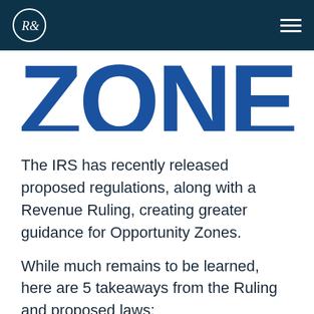R& [logo] | hamburger menu
[Figure (logo): Large cropped blue letters 'ZONE' or similar Opportunity Zone title text in bold blue]
The IRS has recently released proposed regulations, along with a Revenue Ruling, creating greater guidance for Opportunity Zones.
While much remains to be learned, here are 5 takeaways from the Ruling and proposed laws: